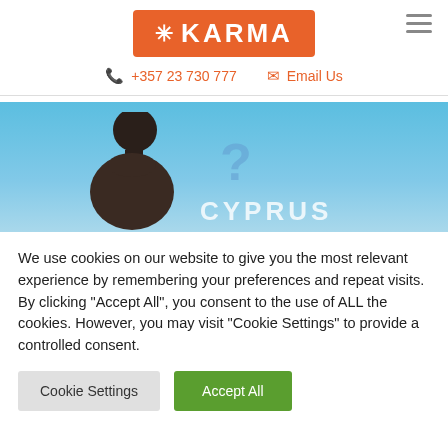[Figure (logo): Karma company logo: orange rounded rectangle with white snowflake asterisk and KARMA text in white]
+357 23 730 777   Email Us
[Figure (photo): Hero banner image showing a person's silhouette against a blue sky background with partial text CYPRUS visible]
We use cookies on our website to give you the most relevant experience by remembering your preferences and repeat visits. By clicking "Accept All", you consent to the use of ALL the cookies. However, you may visit "Cookie Settings" to provide a controlled consent.
Cookie Settings   Accept All